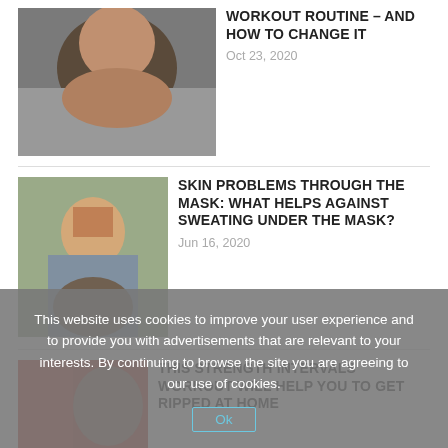[Figure (photo): Person lying down, close-up face/head shot, partially cropped]
WORKOUT ROUTINE – AND HOW TO CHANGE IT
Oct 23, 2020
[Figure (photo): Woman outdoors smiling and pulling down a face mask]
SKIN PROBLEMS THROUGH THE MASK: WHAT HELPS AGAINST SWEATING UNDER THE MASK?
Jun 16, 2020
[Figure (photo): Person doing workout, red background, partially cropped]
THIS STRENGTH INTERVALS WORKOUT WILL HELP YOU TO GET RIPPED AT HOME
This website uses cookies to improve your user experience and to provide you with advertisements that are relevant to your interests. By continuing to browse the site you are agreeing to our use of cookies.